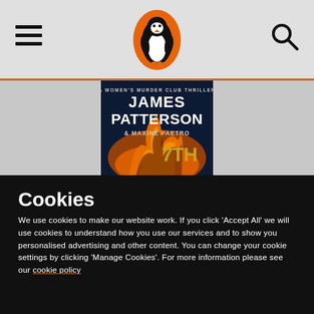[Figure (screenshot): Penguin Books navigation bar with hamburger menu on left, Penguin logo (orange oval with black penguin) in center, and search icon on right, on light grey background]
[Figure (photo): Book cover: James Patterson & Maxine Paetro '7th' - A Women's Murder Club Thriller, dark dramatic cover with fire imagery]
Cookies
We use cookies to make our website work. If you click 'Accept All' we will use cookies to understand how you use our services and to show you personalised advertising and other content. You can change your cookie settings by clicking 'Manage Cookies'. For more information please see our cookie policy